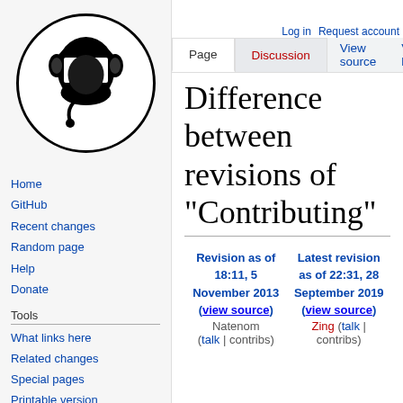[Figure (logo): Mumble/UBLE wiki logo: circular black and white icon with headset and BLE text]
Home
GitHub
Recent changes
Random page
Help
Donate
Tools
What links here
Related changes
Special pages
Printable version
Permanent link
Page information
Log in  Request account
Difference between revisions of "Contributing"
| Revision as of 18:11, 5 November 2013 (view source) | Latest revision as of 22:31, 28 September 2019 (view source) |
| --- | --- |
| Natenom (talk | contribs) | Zing (talk | contribs) |